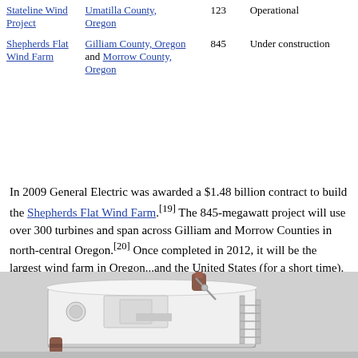| Name | Location | Capacity (MW) | Status |
| --- | --- | --- | --- |
| Stateline Wind Project | Umatilla County, Oregon | 123 | Operational |
| Shepherds Flat Wind Farm | Gilliam County, Oregon and Morrow County, Oregon | 845 | Under construction |
In 2009 General Electric was awarded a $1.48 billion contract to build the Shepherds Flat Wind Farm.[19] The 845-megawatt project will use over 300 turbines and span across Gilliam and Morrow Counties in north-central Oregon.[20] Once completed in 2012, it will be the largest wind farm in Oregon...and the United States (for a short time).
[Figure (photo): Close-up photograph of a wind turbine nacelle and mechanical components, showing white housing, ladder structure, and internal machinery.]